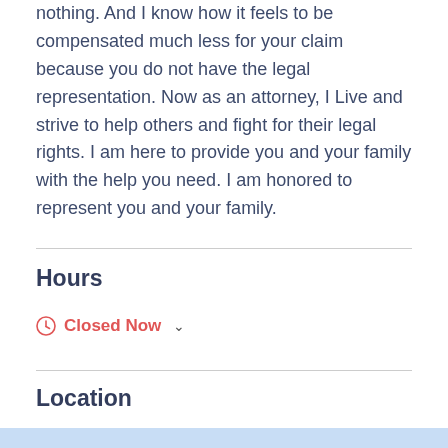nothing. And I know how it feels to be compensated much less for your claim because you do not have the legal representation. Now as an attorney, I Live and strive to help others and fight for their legal rights. I am here to provide you and your family with the help you need. I am honored to represent you and your family.
Hours
Closed Now
Location
[Figure (map): Partial map preview at the bottom of the page]